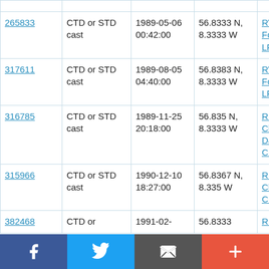| 265833 | CTD or STD cast | 1989-05-06 00:42:00 | 56.8333 N, 8.3333 W | RV Lough Foyle LF1/89 |
| 317611 | CTD or STD cast | 1989-08-05 04:40:00 | 56.8383 N, 8.3333 W | RV Lough Foyle LF2/89 |
| 316785 | CTD or STD cast | 1989-11-25 20:18:00 | 56.835 N, 8.3333 W | RRS Charles Darwin CD44 |
| 315966 | CTD or STD cast | 1990-12-10 18:27:00 | 56.8367 N, 8.335 W | RRS Challenger CH74A_1 |
| 382468 | CTD or STD cast | 1991-02-... | 56.8333 ... | RRS ... |